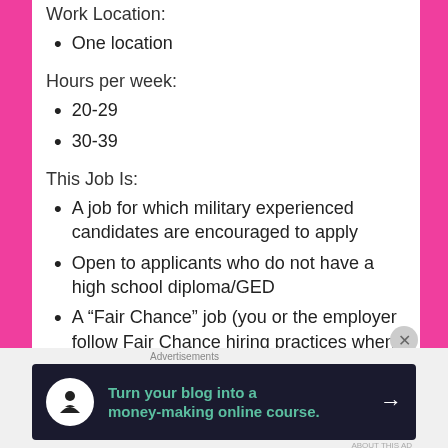Work Location:
One location
Hours per week:
20-29
30-39
This Job Is:
A job for which military experienced candidates are encouraged to apply
Open to applicants who do not have a high school diploma/GED
A “Fair Chance” job (you or the employer follow Fair Chance hiring practices when performing
Advertisements
[Figure (infographic): Advertisement banner: dark background with tree/person icon, teal text reading 'Turn your blog into a money-making online course.' with a white arrow.]